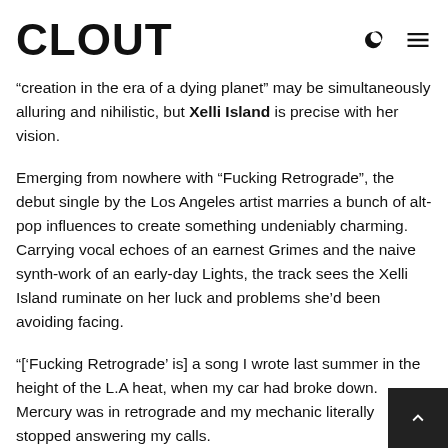CLOUT
“creation in the era of a dying planet” may be simultaneously alluring and nihilistic, but Xelli Island is precise with her vision.
Emerging from nowhere with “Fucking Retrograde”, the debut single by the Los Angeles artist marries a bunch of alt-pop influences to create something undeniably charming. Carrying vocal echoes of an earnest Grimes and the naive synth-work of an early-day Lights, the track sees the Xelli Island ruminate on her luck and problems she’d been avoiding facing.
“[‘Fucking Retrograde’ is] a song I wrote last summer in the height of the L.A heat, when my car had broke down. Mercury was in retrograde and my mechanic literally stopped answering my calls.